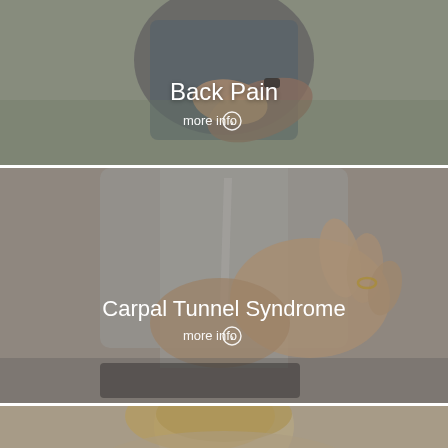[Figure (photo): Photo panel of person holding their lower back in pain, with 'Back Pain' label and 'more info' link overlaid in white text]
[Figure (photo): Photo panel of elderly person holding their wrist, with 'Carpal Tunnel Syndrome' label and 'more info' link overlaid in white text]
[Figure (photo): Photo panel of woman with head tilted in pain, partially cropped, with 'Shoulder Pain' label partially visible at bottom]